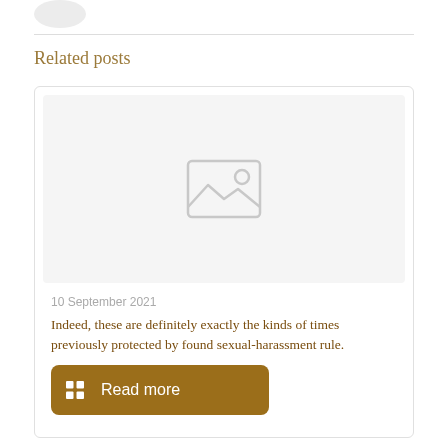[Figure (illustration): Partial avatar/profile circle visible at top left, cropped]
Related posts
[Figure (photo): Placeholder image with mountain and sun icon in grey on light grey background]
10 September 2021
Indeed, these are definitely exactly the kinds of times previously protected by found sexual-harassment rule.
Read more